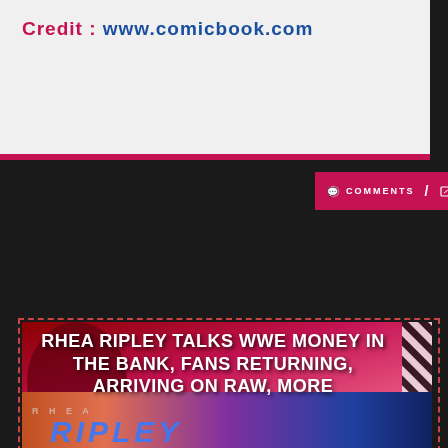Credit : www.comicbook.com
[Figure (screenshot): Social bar with comments and share icons on crimson background]
[Figure (infographic): Article banner: RHEA RIPLEY TALKS WWE MONEY IN THE BANK, FANS RETURNING, ARRIVING ON RAW, MORE with diagonal stripes and red/pink background graphic]
[Figure (photo): Photo of Rhea Ripley WWE branding with blue RIPLEY text on colorful background]